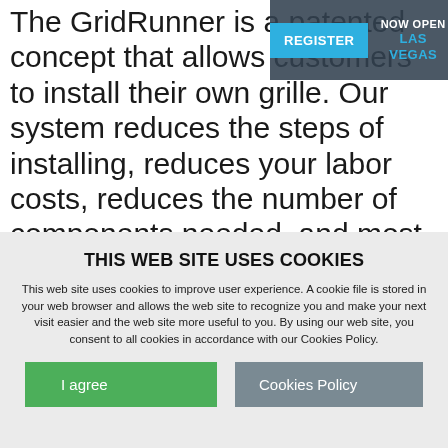The GridRunner is a patented concept that allows customers to install their own grille. Our system reduces the steps of installing, reduces your labor costs, reduces the number of components needed, and most importantly lets you get the job done faster. Our design comes to you with pre-
[Figure (other): Navigation banner overlay with a cyan REGISTER button and NOW OPEN / LAS VEGAS text in white and cyan on a dark semi-transparent background]
THIS WEB SITE USES COOKIES
This web site uses cookies to improve user experience. A cookie file is stored in your web browser and allows the web site to recognize you and make your next visit easier and the web site more useful to you. By using our web site, you consent to all cookies in accordance with our Cookies Policy.
I agree
Cookies Policy